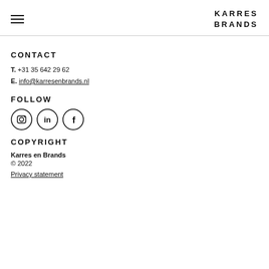KARRES BRANDS
CONTACT
T. +31 35 642 29 62
E. info@karresenbrands.nl
FOLLOW
[Figure (other): Three social media icons in circles: Instagram, LinkedIn, Facebook]
COPYRIGHT
Karres en Brands
© 2022
Privacy statement